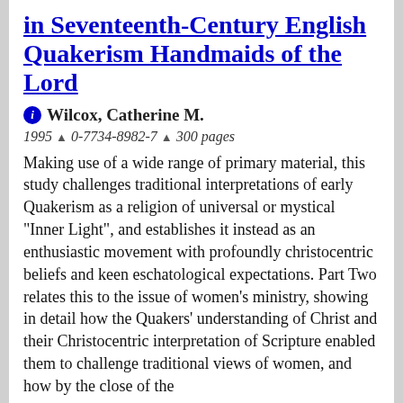in Seventeenth-Century English Quakerism Handmaids of the Lord
Wilcox, Catherine M.
1995 ^ 0-7734-8982-7 ^ 300 pages
Making use of a wide range of primary material, this study challenges traditional interpretations of early Quakerism as a religion of universal or mystical "Inner Light", and establishes it instead as an enthusiastic movement with profoundly christocentric beliefs and keen eschatological expectations. Part Two relates this to the issue of women's ministry, showing in detail how the Quakers' understanding of Christ and their Christocentric interpretation of Scripture enabled them to challenge traditional views of women, and how by the close of the